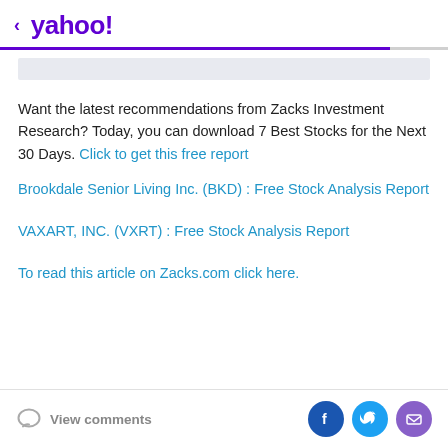< yahoo!
Want the latest recommendations from Zacks Investment Research? Today, you can download 7 Best Stocks for the Next 30 Days. Click to get this free report
Brookdale Senior Living Inc. (BKD) : Free Stock Analysis Report
VAXART, INC. (VXRT) : Free Stock Analysis Report
To read this article on Zacks.com click here.
View comments